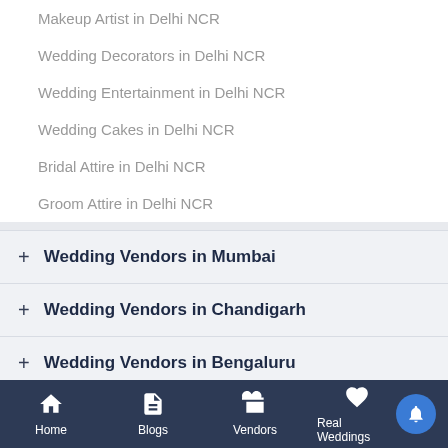Makeup Artist in Delhi NCR
Wedding Decorators in Delhi NCR
Wedding Entertainment in Delhi NCR
Wedding Cakes in Delhi NCR
Bridal Attire in Delhi NCR
Groom Attire in Delhi NCR
+ Wedding Vendors in Mumbai
+ Wedding Vendors in Chandigarh
+ Wedding Vendors in Bengaluru
+ Explore Categories
Home   Blogs   Vendors   Real Weddings